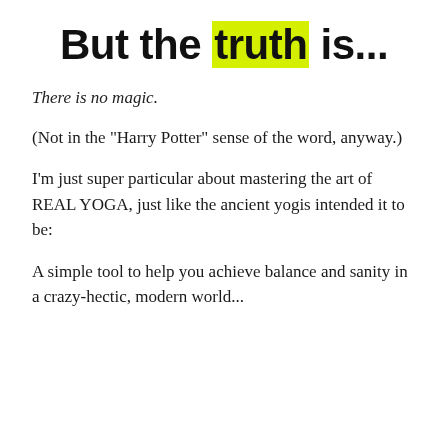But the truth is...
There is no magic.
(Not in the "Harry Potter" sense of the word, anyway.)
I'm just super particular about mastering the art of REAL YOGA, just like the ancient yogis intended it to be:
A simple tool to help you achieve balance and sanity in a crazy-hectic, modern world...